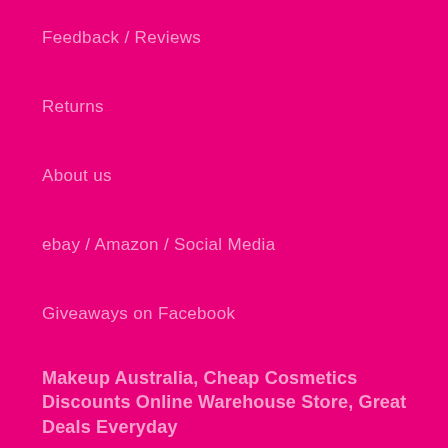Feedback / Reviews
Returns
About us
ebay / Amazon / Social Media
Giveaways on Facebook
Makeup Australia, Cheap Cosmetics Discounts Online Warehouse Store, Great Deals Everyday
Welcome to our online store. We provide a quick and easy shopping experience with great prices.Flat rate $9.99 shipping fee. Click, buy and despatch with our seamless ordering process. Quality products delivered daily to front doors of Australians. Making it easier to